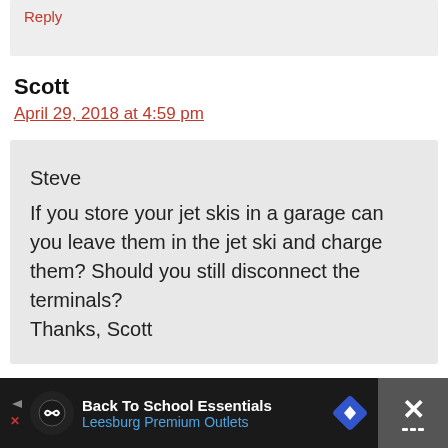Reply
Scott
April 29, 2018 at 4:59 pm
Steve
If you store your jet skis in a garage can you leave them in the jet ski and charge them? Should you still disconnect the terminals?
Thanks, Scott
[Figure (other): Advertisement banner: Back To School Essentials - Leesburg Premium Outlets, with navigation/close icons on dark background]